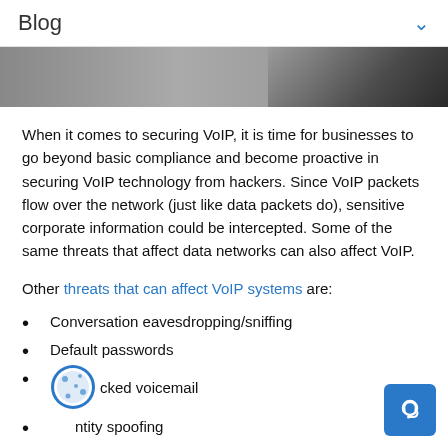Blog
[Figure (photo): Partial photo of a person, cropped, dark background]
When it comes to securing VoIP, it is time for businesses to go beyond basic compliance and become proactive in securing VoIP technology from hackers. Since VoIP packets flow over the network (just like data packets do), sensitive corporate information could be intercepted. Some of the same threats that affect data networks can also affect VoIP.
Other threats that can affect VoIP systems are:
Conversation eavesdropping/sniffing
Default passwords
Hacked voicemail
Identity spoofing